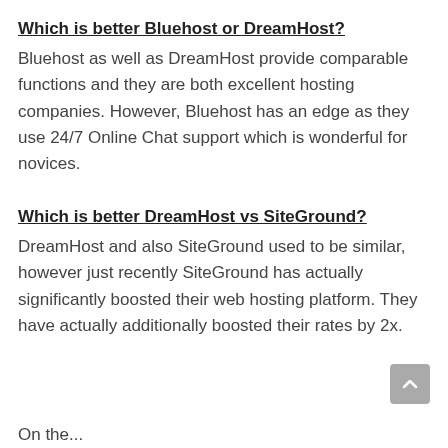Which is better Bluehost or DreamHost?
Bluehost as well as DreamHost provide comparable functions and they are both excellent hosting companies. However, Bluehost has an edge as they use 24/7 Online Chat support which is wonderful for novices.
Which is better DreamHost vs SiteGround?
DreamHost and also SiteGround used to be similar, however just recently SiteGround has actually significantly boosted their web hosting platform. They have actually additionally boosted their rates by 2x.
On the...